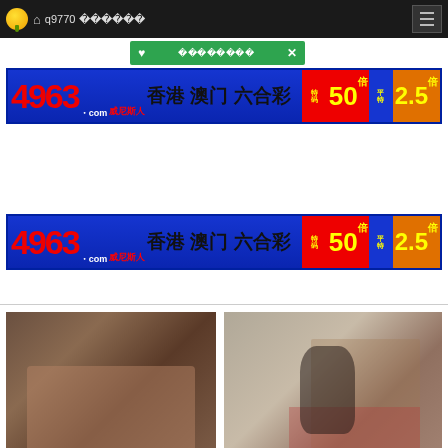q9770 柠檬视频
[Figure (infographic): Green popup notification bar with heart icon and Chinese text, close X button]
[Figure (infographic): 4963.com 威尼斯人 香港 澳门 六合彩 特码50倍 平特2.5倍 advertisement banner]
[Figure (infographic): 4963.com 威尼斯人 香港 澳门 六合彩 特码50倍 平特2.5倍 advertisement banner (second)]
[Figure (photo): Adult content thumbnail image left]
[Figure (photo): Adult content thumbnail image right - woman sitting on chair in room]